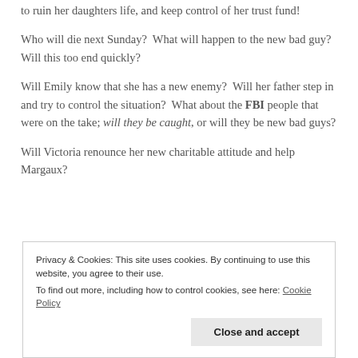to ruin her daughters life, and keep control of her trust fund!
Who will die next Sunday?  What will happen to the new bad guy? Will this too end quickly?
Will Emily know that she has a new enemy?  Will her father step in and try to control the situation?  What about the FBI people that were on the take; will they be caught, or will they be new bad guys?
Will Victoria renounce her new charitable attitude and help Margaux?
Privacy & Cookies: This site uses cookies. By continuing to use this website, you agree to their use.
To find out more, including how to control cookies, see here: Cookie Policy